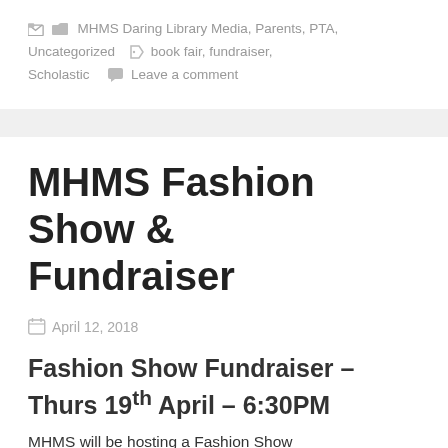MHMS Daring Library Media, Parents, PTA, Uncategorized   book fair, fundraiser, Scholastic   Leave a comment
MHMS Fashion Show & Fundraiser
April 12, 2018
Fashion Show Fundraiser – Thurs 19th April – 6:30PM
MHMS will be hosting a Fashion Show